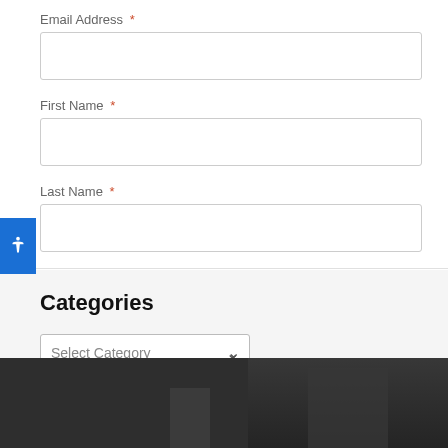Email Address *
[Figure (screenshot): Empty text input field for Email Address]
First Name *
[Figure (screenshot): Empty text input field for First Name]
Last Name *
[Figure (screenshot): Empty text input field for Last Name]
[Figure (screenshot): Subscribe button (gray)]
Categories
[Figure (screenshot): Select Category dropdown]
[Figure (screenshot): Dark footer area with partial image of a building]